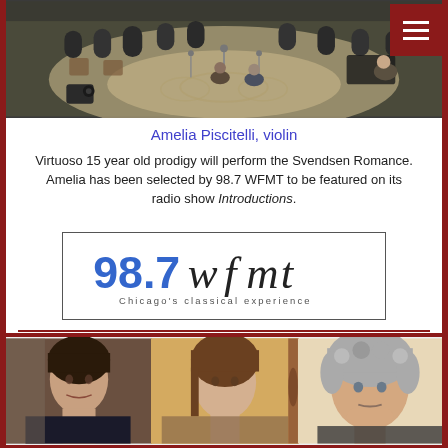[Figure (photo): Concert hall photo showing performers and audience from above]
Amelia Piscitelli, violin
Virtuoso 15 year old prodigy will perform the Svendsen Romance. Amelia has been selected by 98.7 WFMT to be featured on its radio show Introductions.
[Figure (logo): 98.7 WFMT Chicago's classical experience logo]
[Figure (photo): Three musicians pictured side by side: a woman with dark hair, a younger woman with brown hair, and a man with gray curly hair]